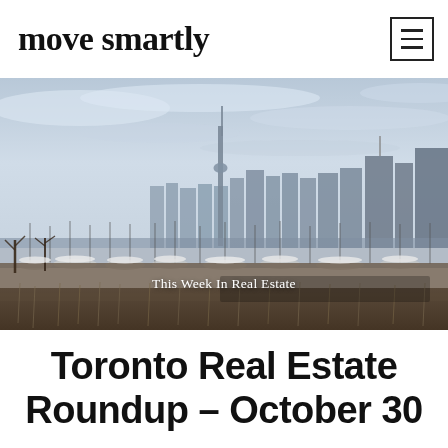move smartly
[Figure (photo): Toronto skyline viewed from a marina with boats and bare trees in the foreground, overcast winter sky, CN Tower visible]
This Week In Real Estate
Toronto Real Estate Roundup – October 30